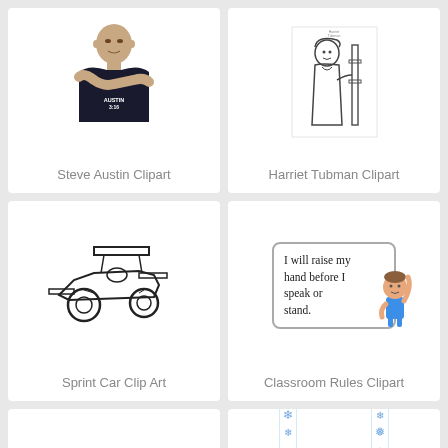[Figure (illustration): Photo of Steve Austin, a bald muscular man in a dark t-shirt with 'Austin 3:16' text, arms crossed]
Steve Austin Clipart
[Figure (illustration): Line drawing coloring page of Harriet Tubman standing next to a fence post]
Harriet Tubman Clipart
[Figure (illustration): Black and white line drawing of a sprint car race car]
Sprint Car Clip Art
[Figure (illustration): Classroom rule clipart showing a box with text 'I will raise my hand before I speak or stand.' with a cartoon child raising hand]
Classroom Rules Clipart
[Figure (illustration): Bright green lowercase letter 'a' clipart, partially visible]
[Figure (illustration): Blue snowflake border/frame clipart, partially visible]